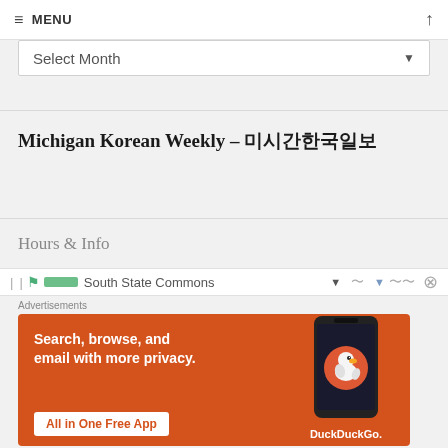≡ MENU
Select Month
Michigan Korean Weekly – 미시간한국일보
Hours & Info
South State Commons
Advertisements
[Figure (screenshot): DuckDuckGo advertisement banner with orange background showing text 'Search, browse, and email with more privacy. All in One Free App' alongside a smartphone with the DuckDuckGo logo]